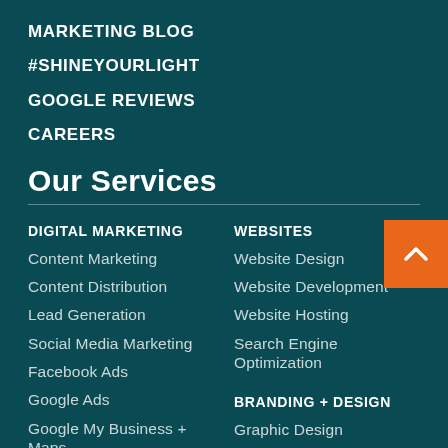MARKETING BLOG
#SHINEYOURLIGHT
GOOGLE REVIEWS
CAREERS
Our Services
DIGITAL MARKETING
Content Marketing
Content Distribution
Lead Generation
Social Media Marketing
Facebook Ads
Google Ads
Google My Business + Maps
WEBSITES
Website Design
Website Development
Website Hosting
Search Engine Optimization
BRANDING + DESIGN
Graphic Design
Branding